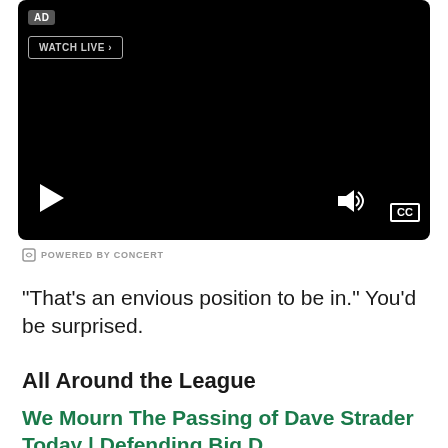[Figure (screenshot): Black video player with AD badge top-left, WATCH LIVE button, play button bottom-left, volume icon and CC button bottom-right]
G POWERED BY CONCERT
“That’s an envious position to be in.” You’d be surprised.
All Around the League
We Mourn The Passing of Dave Strader Today | Defending Big D